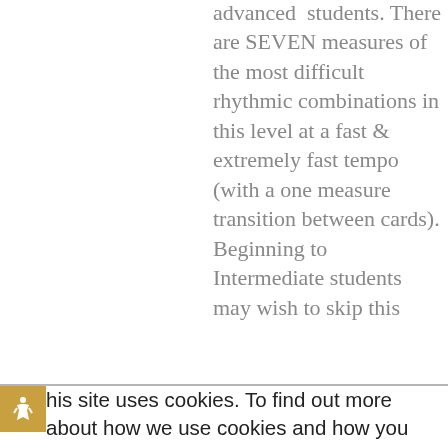advanced students. There are SEVEN measures of the most difficult rhythmic combinations in this level at a fast & extremely fast tempo (with a one measure transition between cards). Beginning to Intermediate students may wish to skip this
This site uses cookies. To find out more about how we use cookies and how you can change your settings, read our privacy policy or adjust your Cookie settings.